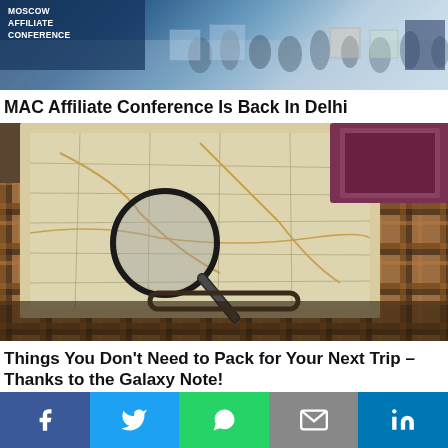[Figure (photo): Moscow Affiliate Conference banner with crowd of people at exhibition hall]
MAC Affiliate Conference Is Back In Delhi
[Figure (photo): Travel suitcase open with maps and a magnifying glass on top, passports and travel documents visible]
Things You Don't Need to Pack for Your Next Trip – Thanks to the Galaxy Note!
[Figure (infographic): Social media sharing bar with Facebook, Twitter, WhatsApp, Email, and LinkedIn buttons]